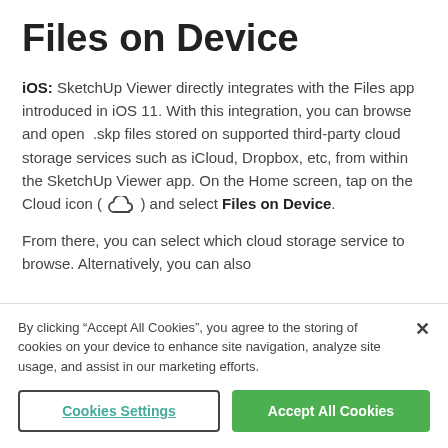Files on Device
iOS: SketchUp Viewer directly integrates with the Files app introduced in iOS 11. With this integration, you can browse and open .skp files stored on supported third-party cloud storage services such as iCloud, Dropbox, etc, from within the SketchUp Viewer app. On the Home screen, tap on the Cloud icon ( ) and select Files on Device.
From there, you can select which cloud storage service to browse. Alternatively, you can also
By clicking “Accept All Cookies”, you agree to the storing of cookies on your device to enhance site navigation, analyze site usage, and assist in our marketing efforts.
Cookies Settings
Accept All Cookies